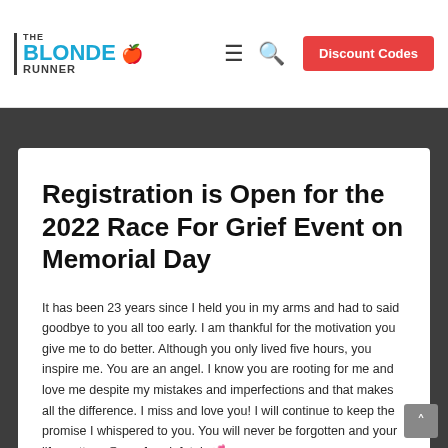THE BLONDE RUNNER | Discount Codes
Registration is Open for the 2022 Race For Grief Event on Memorial Day
It has been 23 years since I held you in my arms and had to said goodbye to you all too early. I am thankful for the motivation you give me to do better. Although you only lived five hours, you inspire me. You are an angel. I know you are rooting for me and love me despite my mistakes and imperfections and that makes all the difference. I miss and love you! I will continue to keep the promise I whispered to you. You will never be forgotten and your life matters @raceforgriefutah 💕 Love, Mom